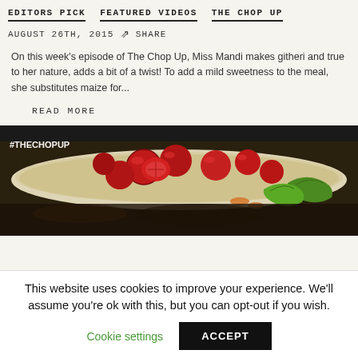EDITORS PICK   FEATURED VIDEOS   THE CHOP UP
AUGUST 26TH, 2015   ↗ SHARE
On this week's episode of The Chop Up, Miss Mandi makes githeri and true to her nature, adds a bit of a twist! To add a mild sweetness to the meal, she substitutes maize for...
READ MORE
[Figure (photo): Close-up photo of a cooked dish with fried egg, cherry tomatoes, and green peppers on a plate. Text overlay shows #THECHOPUP in top-left corner.]
This website uses cookies to improve your experience. We'll assume you're ok with this, but you can opt-out if you wish. Cookie settings   ACCEPT